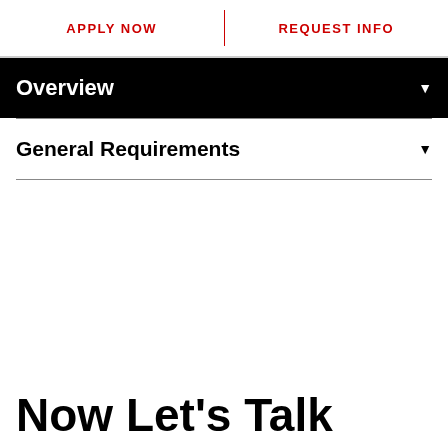APPLY NOW   REQUEST INFO
Overview
General Requirements
Now Let's Talk